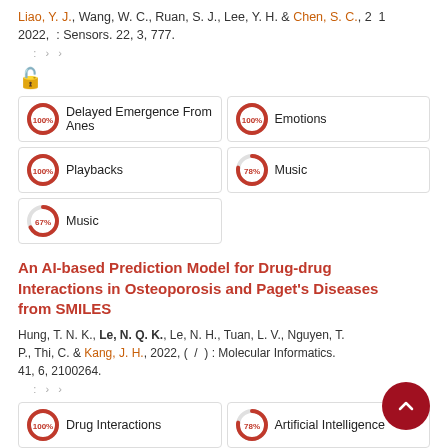Liao, Y. J., Wang, W. C., Ruan, S. J., Lee, Y. H. & Chen, S. C., 2 1 2022, : Sensors. 22, 3, 777.
[Figure (infographic): Open access icon (orange padlock)]
[Figure (infographic): Fingerprint keyword badges: Delayed Emergence From Anes (100%), Emotions (100%), Playbacks (100%), Music (78%), Music (67%)]
An AI-based Prediction Model for Drug-drug Interactions in Osteoporosis and Paget's Diseases from SMILES
Hung, T. N. K., Le, N. Q. K., Le, N. H., Tuan, L. V., Nguyen, T. P., Thi, C. & Kang, J. H., 2022, ( / ) : Molecular Informatics. 41, 6, 2100264.
[Figure (infographic): Fingerprint keyword badges: Drug Interactions (100%), Artificial Intelligence (78%)]